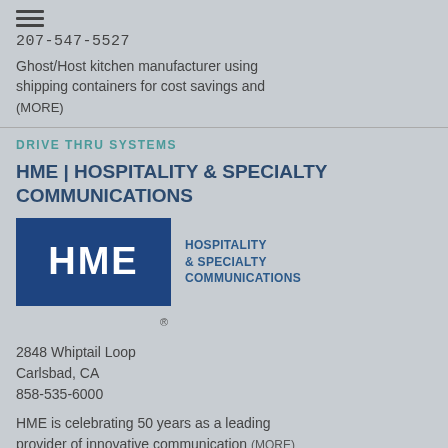[Figure (illustration): Hamburger menu icon (three horizontal lines)]
207-547-5527
Ghost/Host kitchen manufacturer using shipping containers for cost savings and (MORE)
DRIVE THRU SYSTEMS
HME | HOSPITALITY & SPECIALTY COMMUNICATIONS
[Figure (logo): HME Hospitality & Specialty Communications logo — dark blue rectangle with white HME text, and blue text on right: HOSPITALITY & SPECIALTY COMMUNICATIONS with registered trademark symbol]
2848 Whiptail Loop
Carlsbad, CA
858-535-6000
HME is celebrating 50 years as a leading provider of innovative communication (MORE)